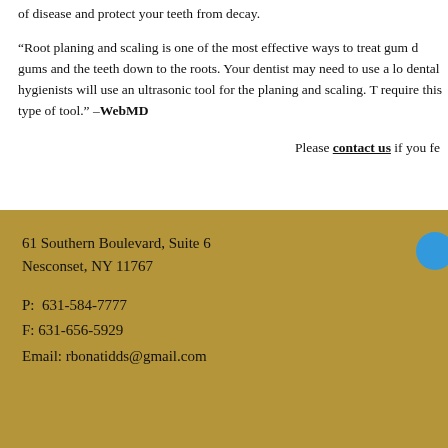of disease and protect your teeth from decay.
“Root planing and scaling is one of the most effective ways to treat gum disease. It cleans between the gums and the teeth down to the roots. Your dentist may need to use a local anesthetic, and your dentist or dental hygienists will use an ultrasonic tool for the planing and scaling. There are other techniques that also require this type of tool.” –WebMD
Please contact us if you feel...
61 Southern Boulevard, Suite 6
Nesconset, NY 11767
P:  631-584-7777
F: 631-656-5929
Email: rbonatidds@gmail.com